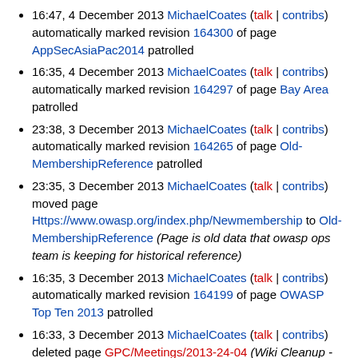16:47, 4 December 2013 MichaelCoates (talk | contribs) automatically marked revision 164300 of page AppSecAsiaPac2014 patrolled
16:35, 4 December 2013 MichaelCoates (talk | contribs) automatically marked revision 164297 of page Bay Area patrolled
23:38, 3 December 2013 MichaelCoates (talk | contribs) automatically marked revision 164265 of page Old-MembershipReference patrolled
23:35, 3 December 2013 MichaelCoates (talk | contribs) moved page Https://www.owasp.org/index.php/Newmembership to Old-MembershipReference (Page is old data that owasp ops team is keeping for historical reference)
16:35, 3 December 2013 MichaelCoates (talk | contribs) automatically marked revision 164199 of page OWASP Top Ten 2013 patrolled
16:33, 3 December 2013 MichaelCoates (talk | contribs) deleted page GPC/Meetings/2013-24-04 (Wiki Cleanup - Unused blank page)
16:22, 3 December 2013 MichaelCoates (talk | contribs)